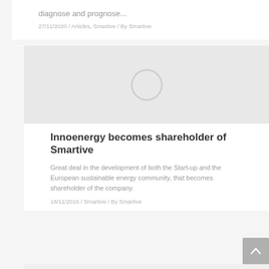diagnose and prognose...
27/11/2020 / Articles, Smartive / By Smartive
Innoenergy becomes shareholder of Smartive
Great deal in the development of both the Start-up and the European sustainable energy community, that becomes shareholder of the company.
18/11/2016 / Smartive / By Smartive